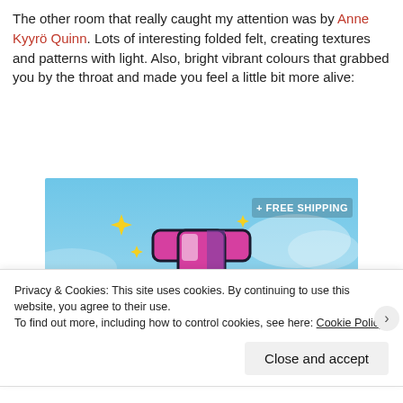The other room that really caught my attention was by Anne Kyyrö Quinn. Lots of interesting folded felt, creating textures and patterns with light. Also, bright vibrant colours that grabbed you by the throat and made you feel a little bit more alive:
[Figure (screenshot): Advertisement banner with a sky-blue background showing a stylized pink and purple letter 't' logo with yellow sparkle stars and text '+ FREE SHIPPING' in white on the right side. The bottom shows a white curved area.]
Privacy & Cookies: This site uses cookies. By continuing to use this website, you agree to their use.
To find out more, including how to control cookies, see here: Cookie Policy